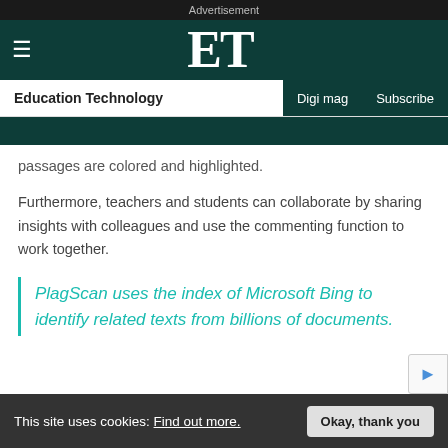Advertisement
ET — Education Technology | Digi mag | Subscribe
passages are colored and highlighted.
Furthermore, teachers and students can collaborate by sharing insights with colleagues and use the commenting function to work together.
PlagScan uses the index of Microsoft Bing to identify related texts from billions of documents.
This site uses cookies: Find out more.